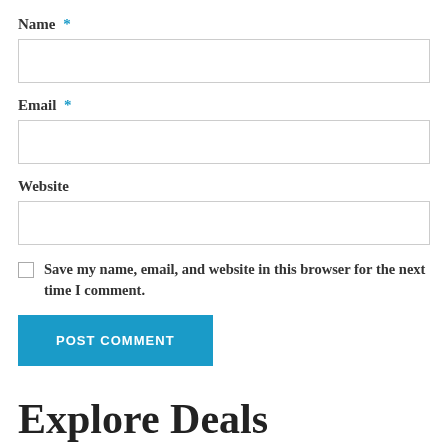Name *
Email *
Website
Save my name, email, and website in this browser for the next time I comment.
POST COMMENT
Explore Deals